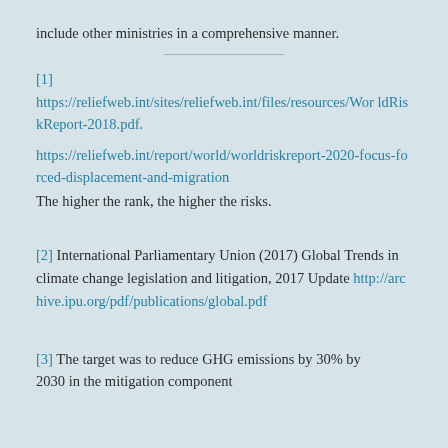include other ministries in a comprehensive manner.
[1]
https://reliefweb.int/sites/reliefweb.int/files/resources/WorldRiskReport-2018.pdf.
https://reliefweb.int/report/world/worldriskreport-2020-focus-forced-displacement-and-migration
The higher the rank, the higher the risks.
[2] International Parliamentary Union (2017) Global Trends in climate change legislation and litigation, 2017 Update http://archive.ipu.org/pdf/publications/global.pdf
[3] The target was to reduce GHG emissions by 30% by 2030 in the mitigation component